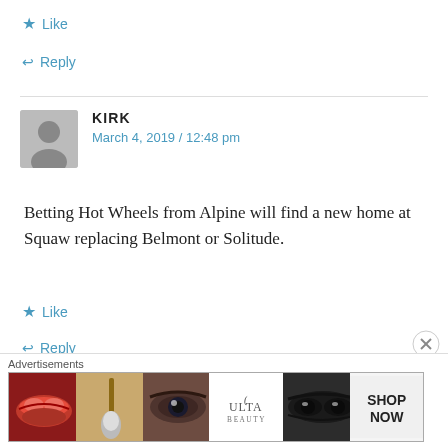★ Like
↩ Reply
KIRK
March 4, 2019 / 12:48 pm
Betting Hot Wheels from Alpine will find a new home at Squaw replacing Belmont or Solitude.
★ Like
↩ Reply
[Figure (illustration): Advertisement banner for ULTA Beauty showing cosmetic images: lips with lipstick, makeup brush, eye closeup, ULTA logo, eye closeup, and SHOP NOW text]
Advertisements